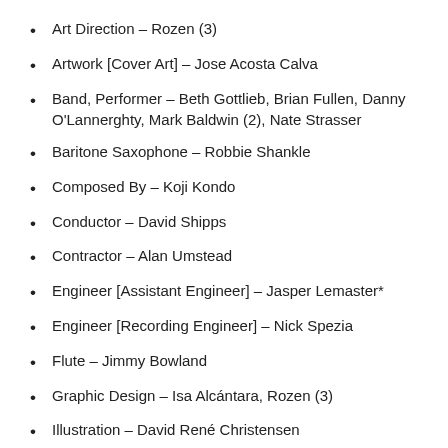Art Direction – Rozen (3)
Artwork [Cover Art] – Jose Acosta Calva
Band, Performer – Beth Gottlieb, Brian Fullen, Danny O'Lannerghty, Mark Baldwin (2), Nate Strasser
Baritone Saxophone – Robbie Shankle
Composed By – Koji Kondo
Conductor – David Shipps
Contractor – Alan Umstead
Engineer [Assistant Engineer] – Jasper Lemaster*
Engineer [Recording Engineer] – Nick Spezia
Flute – Jimmy Bowland
Graphic Design – Isa Alcántara, Rozen (3)
Illustration – David René Christensen
Lacquer Cut By – KR (3)
Layout [Mix] – Danny Danaleton